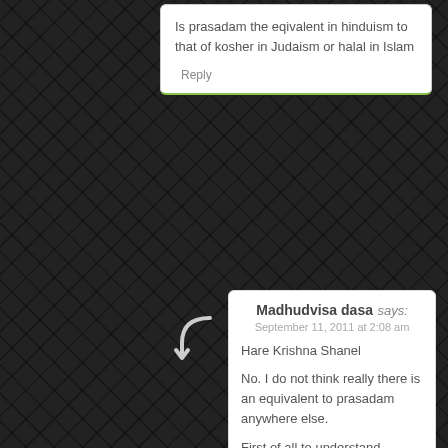Is prasadam the eqivalent in hinduism to that of kosher in Judaism or halal in Islam
Reply
Madhudvisa dasa says:
September 11, 2011 at 2:08 am
Hare Krishna Shanel
No. I do not think really there is an equivalent to prasadam anywhere else.
First of all to understand prasadam you have to understand that God is a person and that He is capable of accepting offerings from us. It is a simple concept. If you have a